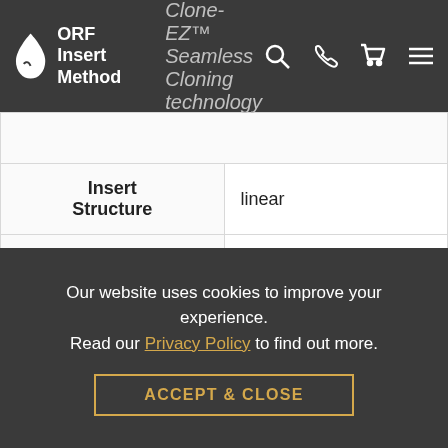ORF Insert Method | Clone-EZ™ Seamless Cloning technology
| Field | Value |
| --- | --- |
| Insert Structure | linear |
| Update Date | 2016-02-29 |
| Organism | Oryza sativa Japonica Group(Japanese rice) |
| Product | translation initiation factor eIF-2B subunit gamma |
|  | Comment: MODEL REFSEQ: Thi... |
Our website uses cookies to improve your experience. Read our Privacy Policy to find out more.
ACCEPT & CLOSE